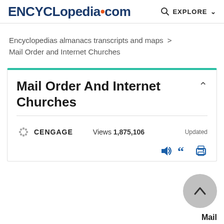ENCYCLopedia•com   EXPLORE
Encyclopedias almanacs transcripts and maps > Mail Order and Internet Churches
Mail Order And Internet Churches
CENGAGE   Views 1,875,106   Updated
Mail